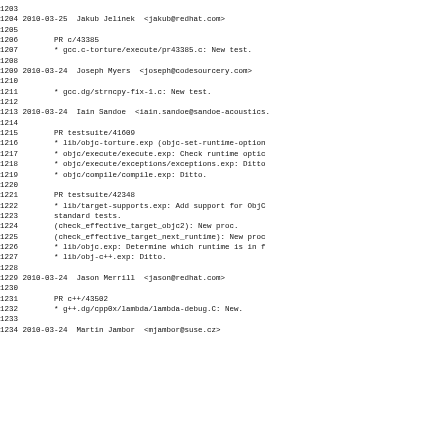1203
1204 2010-03-25  Jakub Jelinek  <jakub@redhat.com>
1205
1206        PR c/43385
1207        * gcc.c-torture/execute/pr43385.c: New test.
1208
1209 2010-03-24  Joseph Myers  <joseph@codesourcery.com>
1210
1211        * gcc.dg/strncpy-fix-1.c: New test.
1212
1213 2010-03-24  Iain Sandoe  <iain.sandoe@sandoe-acoustics.
1214
1215        PR testsuite/41609
1216        * lib/objc-torture.exp (objc-set-runtime-option
1217        * objc/execute/execute.exp: Check runtime optic
1218        * objc/execute/exceptions/exceptions.exp: Ditto
1219        * objc/compile/compile.exp: Ditto.
1220
1221        PR testsuite/42348
1222        * lib/target-supports.exp: Add support for ObjC
1223        standard tests.
1224        (check_effective_target_objc2): New proc.
1225        (check_effective_target_next_runtime): New proc
1226        * lib/objc.exp: Determine which runtime is in f
1227        * lib/obj-c++.exp: Ditto.
1228
1229 2010-03-24  Jason Merrill  <jason@redhat.com>
1230
1231        PR c++/43502
1232        * g++.dg/cpp0x/lambda/lambda-debug.C: New.
1233
1234 2010-03-24  Martin Jambor  <mjambor@suse.cz>